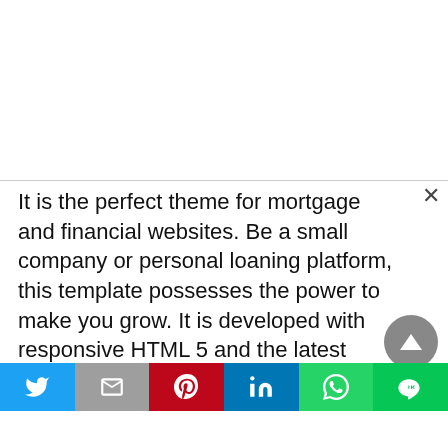It is the perfect theme for mortgage and financial websites. Be a small company or personal loaning platform, this template possesses the power to make you grow. It is developed with responsive HTML 5 and the latest Bootstrap 4 framework. Borrow has been designed with dynamic tools and clean codes. You get the power to customize it whenever you wish to. Your website receives a fresh and trendy look with the template. In short, you will be able to build your mortgage loan officer's website from scratch. It has two HTML